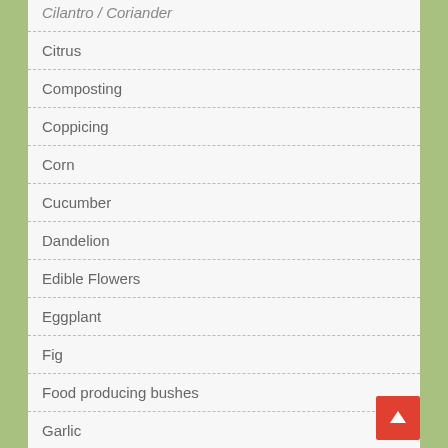Cilantro / Coriander
Citrus
Composting
Coppicing
Corn
Cucumber
Dandelion
Edible Flowers
Eggplant
Fig
Food producing bushes
Garlic
Grape